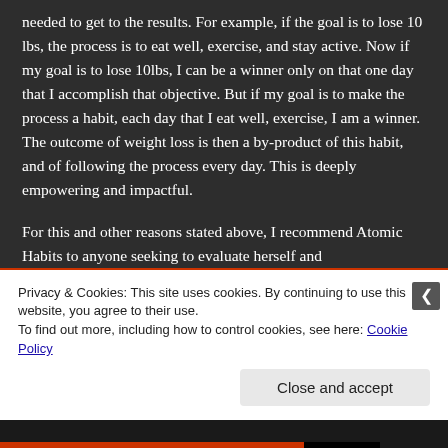needed to get to the results. For example, if the goal is to lose 10 lbs, the process is to eat well, exercise, and stay active. Now if my goal is to lose 10lbs, I can be a winner only on that one day that I accomplish that objective. But if my goal is to make the process a habit, each day that I eat well, exercise, I am a winner. The outcome of weight loss is then a by-product of this habit, and of following the process every day. This is deeply empowering and impactful.
For this and other reasons stated above, I recommend Atomic Habits to anyone seeking to evaluate herself and
Privacy & Cookies: This site uses cookies. By continuing to use this website, you agree to their use.
To find out more, including how to control cookies, see here: Cookie Policy